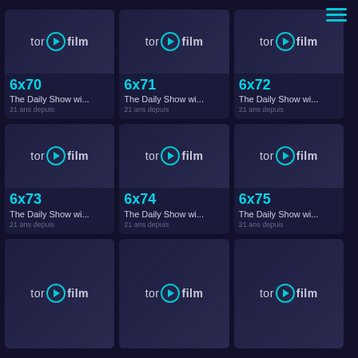[Figure (screenshot): Mobile app screenshot of torfilm streaming service showing a grid of 9 episode thumbnails for 'The Daily Show wi...' episodes 6x70 through 6x78, each with the torfilm logo placeholder thumbnail, episode number in cyan, show title, and '21 ans depuis' date label. A hamburger menu icon is in the top right corner.]